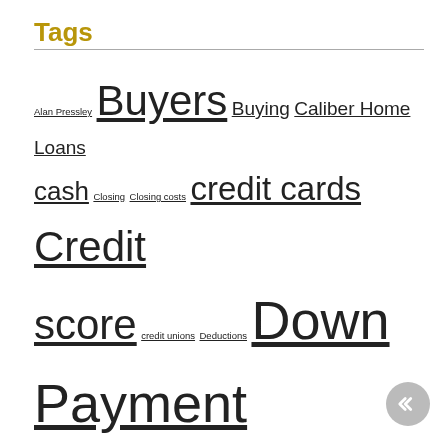Tags
Alan Pressley Buyers Buying Caliber Home Loans cash Closing Closing costs credit cards Credit score credit unions Deductions Down Payment Earnest money Equity Farm credit fixer upper for sale Gifts Hamilton county Home Inspection homeowner Housing Data Housing market ibuyers Indiana counties Indianapolis Indianapolis real estate interest Inventory James Whitcomb Riley land sales loan Local Market MIBOR mortgage Online Agents paperless price Real Estate Rent Sellers selling Student loans Taxes US Inspect